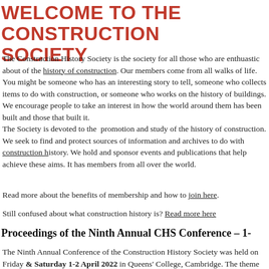WELCOME TO THE CONSTRUCTION SOCIETY
The Construction History Society is the society for all those who are enthusiastic about of the history of construction. Our members come from all walks of life. You might be someone who has an interesting story to tell, someone who collects items to do with construction, or someone who works on the history of buildings. We encourage people to take an interest in how the world around them has been built and those that built it.
The Society is devoted to the promotion and study of the history of construction. We seek to find and protect sources of information and archives to do with construction history. We hold and sponsor events and publications that help achieve these aims. It has members from all over the world.
Read more about the benefits of membership and how to join here.
Still confused about what construction history is? Read more here
Proceedings of the Ninth Annual CHS Conference – 1-
The Ninth Annual Conference of the Construction History Society was held on Friday & Saturday 1-2 April 2022 in Queens' College, Cambridge. The theme was T